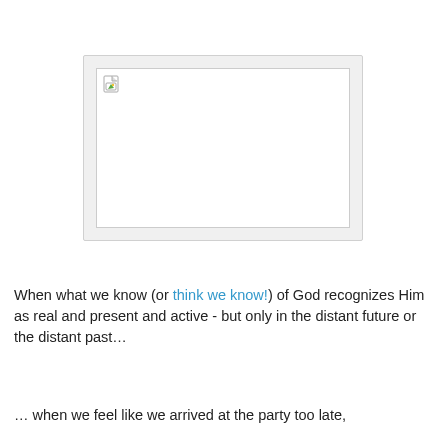[Figure (other): Broken/missing image placeholder with a small image icon in the top-left corner, shown inside a light gray bordered box]
When what we know (or think we know!) of God recognizes Him as real and present and active - but only in the distant future or the distant past…
… when we feel like we arrived at the party too late,